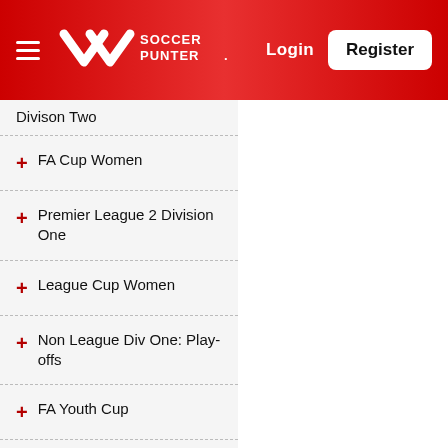[Figure (logo): Soccer Punter logo with hamburger menu, Login and Register buttons on red header]
Divison Two
+ FA Cup Women
+ Premier League 2 Division One
+ League Cup Women
+ Non League Div One: Play-offs
+ FA Youth Cup
+ Youth Alliance
+ Central League Cup